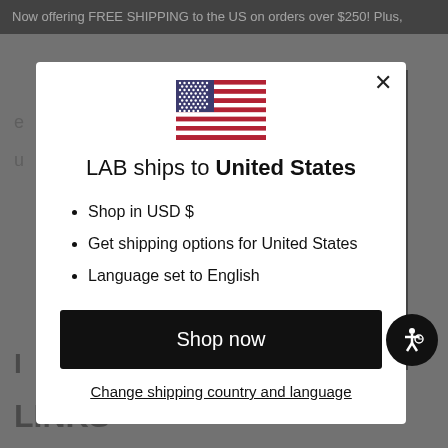Now offering FREE SHIPPING to the US on orders over $250! Plus,
[Figure (screenshot): Modal dialog showing US flag, shipping info for United States, list of options, and Shop now button]
LAB ships to United States
Shop in USD $
Get shipping options for United States
Language set to English
Shop now
Change shipping country and language